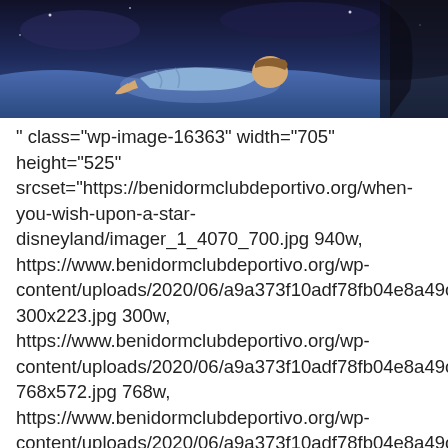[Figure (illustration): Animated cartoon scene showing a Disney character (appears to be from Pinocchio) lying down, with blue/purple background suggesting a night sky or ocean scene.]
" class="wp-image-16363" width="705" height="525" srcset="https://benidormclubdeportivo.org/when-you-wish-upon-a-star-disneyland/imager_1_4070_700.jpg 940w, https://www.benidormclubdeportivo.org/wp-content/uploads/2020/06/a9a373f10adf78fb04e8a49c29781e99.940x700x1-300x223.jpg 300w, https://www.benidormclubdeportivo.org/wp-content/uploads/2020/06/a9a373f10adf78fb04e8a49c29781e99.940x700x1-768x572.jpg 768w, https://www.benidormclubdeportivo.org/wp-content/uploads/2020/06/a9a373f10adf78fb04e8a49c29781e99.940x700x1-313x233.jpg 313w" sizes="(max-width: 705px) 100vw, 705px" />Which Disney Film Features the Song “When You Wish Upon a Star”?
“When You Wish Upon a Star” on a